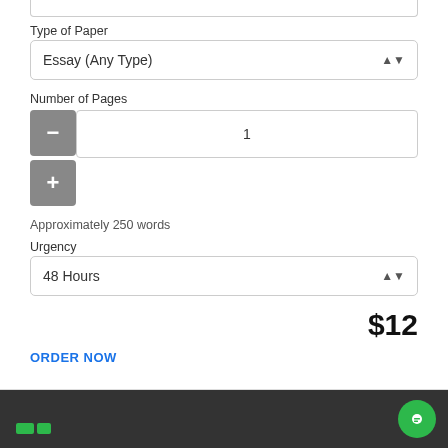Type of Paper
Essay (Any Type)
Number of Pages
1
Approximately 250 words
Urgency
48 Hours
$12
ORDER NOW